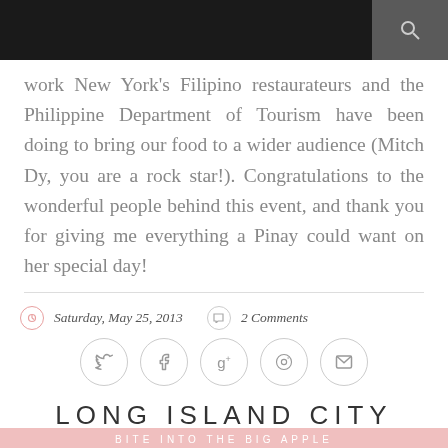work New York's Filipino restaurateurs and the Philippine Department of Tourism have been doing to bring our food to a wider audience (Mitch Dy, you are a rock star!). Congratulations to the wonderful people behind this event, and thank you for giving me everything a Pinay could want on her special day!
Saturday, May 25, 2013    2 Comments
[Figure (infographic): Social sharing buttons: Twitter, Facebook, Google+, Pinterest, Email — circular outlined icons in a row]
LONG ISLAND CITY
BITE INTO THE BIG APPLE